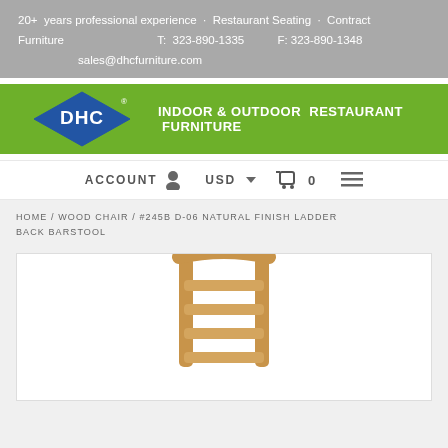20+ years professional experience · Restaurant Seating · Contract Furniture   T: 323-890-1335   F: 323-890-1348   sales@dhcfurniture.com
[Figure (logo): DHC logo diamond shape in blue with white text 'DHC' and registered trademark symbol, on green background, next to green banner reading 'Indoor & Outdoor Restaurant Furniture']
ACCOUNT   USD   0 (cart icon) ≡
HOME / WOOD CHAIR / #245B D-06 NATURAL FINISH LADDER BACK BARSTOOL
[Figure (photo): Photo of a wooden ladder back barstool with natural wood finish, showing upper back portion of the chair against white background]